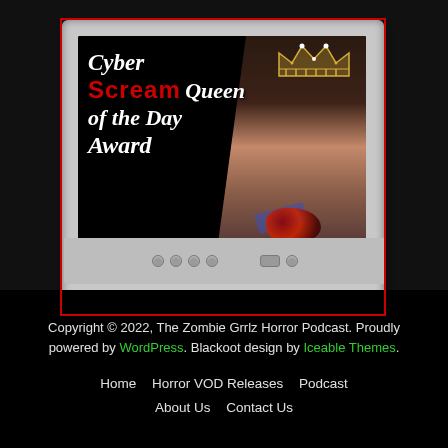[Figure (illustration): An old-style CRT computer monitor with a gray bezel and red border outline. The screen shows a 'Cyber Scream Queen of the Day Award' graphic on a black background with a woman wearing a crown holding roses on the right side of the screen. The monitor has control buttons on the bottom bezel.]
Copyright © 2022, The Zombie Grrlz Horror Podcast. Proudly powered by WordPress. Blackoot design by Iceable Themes.
Home   Horror VOD Releases   Podcast   About Us   Contact Us